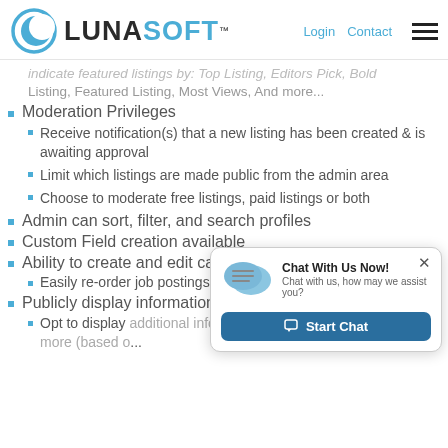LUNASOFT | Login | Contact
indicate featured listings by: Top Listing, Editors Pick, Bold Listing, Featured Listing, Most Views, And more...
Moderation Privileges
Receive notification(s) that a new listing has been created & is awaiting approval
Limit which listings are made public from the admin area
Choose to moderate free listings, paid listings or both
Admin can sort, filter, and search profiles
Custom Field creation available
Ability to create and edit categories
Easily re-order job postings using 'drag & drop' features
Publicly display information on a user's listing
Opt to display additional info, including... and Show more (based o...)
[Figure (other): Chat popup with 'Chat With Us Now!' title, subtitle 'Chat with us, how may we assist you?', a chat icon, and a 'Start Chat' button.]